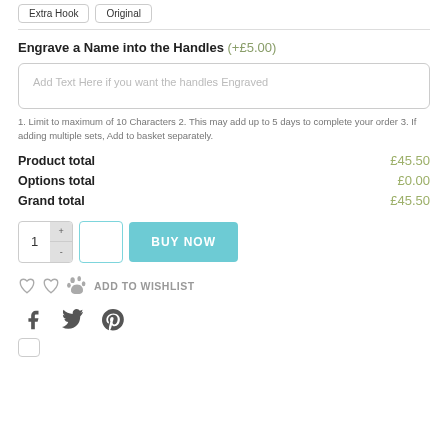Extra Hook | Original
Engrave a Name into the Handles (+£5.00)
Add Text Here if you want the handles Engraved
1. Limit to maximum of 10 Characters 2. This may add up to 5 days to complete your order 3. If adding multiple sets, Add to basket separately.
Product total £45.50
Options total £0.00
Grand total £45.50
1 + - BUY NOW
ADD TO WISHLIST
[Figure (other): Social share icons: Facebook, Twitter, Pinterest]